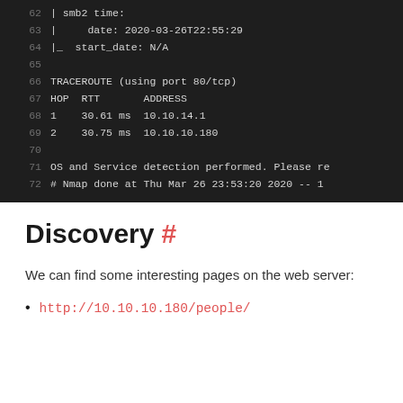[Figure (screenshot): Terminal/code screenshot showing nmap output lines 62-72, dark background with monospace text. Lines show SMB2 time, date, start_date fields, TRACEROUTE section with HOP/RTT/ADDRESS table, OS and Service detection note, and Nmap done timestamp.]
Discovery #
We can find some interesting pages on the web server:
http://10.10.10.180/people/